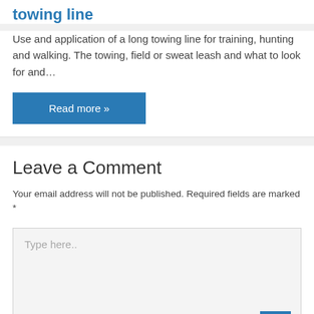towing line
Use and application of a long towing line for training, hunting and walking. The towing, field or sweat leash and what to look for and…
Read more »
Leave a Comment
Your email address will not be published. Required fields are marked *
Type here..